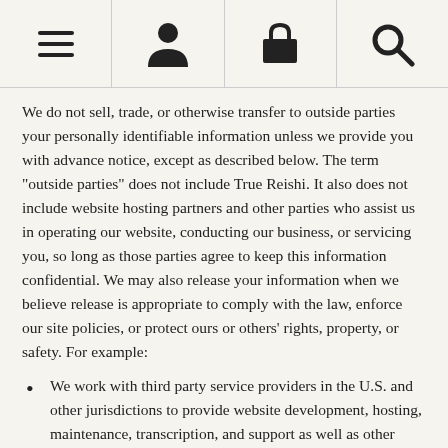[Figure (other): Navigation bar with hamburger menu icon, user/person icon, shopping basket icon, and search magnifying glass icon]
We do not sell, trade, or otherwise transfer to outside parties your personally identifiable information unless we provide you with advance notice, except as described below. The term "outside parties" does not include True Reishi. It also does not include website hosting partners and other parties who assist us in operating our website, conducting our business, or servicing you, so long as those parties agree to keep this information confidential. We may also release your information when we believe release is appropriate to comply with the law, enforce our site policies, or protect ours or others' rights, property, or safety. For example:
We work with third party service providers in the U.S. and other jurisdictions to provide website development, hosting, maintenance, transcription, and support as well as other business services for us.